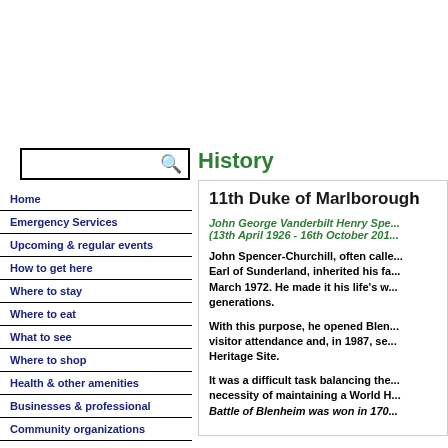History
11th Duke of Marlborough
John George Vanderbilt Henry Spe... (13th April 1926 - 16th October 201...
John Spencer-Churchill, often called Earl of Sunderland, inherited his fa... March 1972. He made it his life's w... generations.
With this purpose, he opened Blen... visitor attendance and, in 1987, se... Heritage Site.
It was a difficult task balancing the... necessity of maintaining a World H... Battle of Blenheim was won in 170...
Home
Emergency Services
Upcoming & regular events
How to get here
Where to stay
Where to eat
What to see
Where to shop
Health & other amenities
Businesses & professional
Community organizations
History of the town...